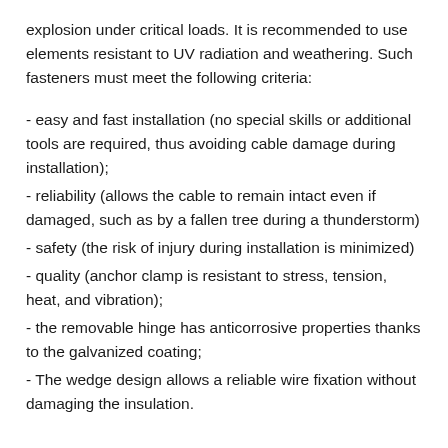explosion under critical loads. It is recommended to use elements resistant to UV radiation and weathering. Such fasteners must meet the following criteria:
- easy and fast installation (no special skills or additional tools are required, thus avoiding cable damage during installation);
- reliability (allows the cable to remain intact even if damaged, such as by a fallen tree during a thunderstorm)
- safety (the risk of injury during installation is minimized)
- quality (anchor clamp is resistant to stress, tension, heat, and vibration);
- the removable hinge has anticorrosive properties thanks to the galvanized coating;
- The wedge design allows a reliable wire fixation without damaging the insulation.